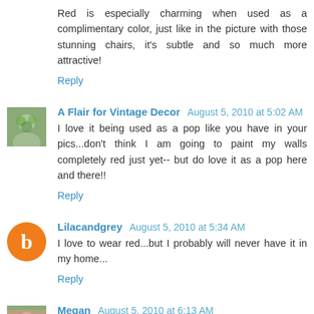Red is especially charming when used as a complimentary color, just like in the picture with those stunning chairs, it's subtle and so much more attractive!
Reply
A Flair for Vintage Decor  August 5, 2010 at 5:02 AM
I love it being used as a pop like you have in your pics...don't think I am going to paint my walls completely red just yet-- but do love it as a pop here and there!!
Reply
Lilacandgrey  August 5, 2010 at 5:34 AM
I love to wear red...but I probably will never have it in my home...
Reply
Megan  August 5, 2010 at 6:13 AM